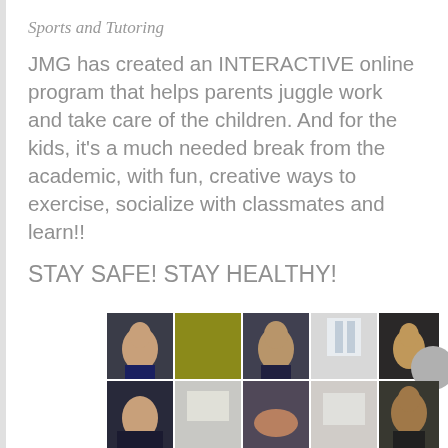Sports and Tutoring
JMG has created an INTERACTIVE online program that helps parents juggle work and take care of the children. And for the kids, it's a much needed break from the academic, with fun, creative ways to exercise, socialize with classmates and learn!!
STAY SAFE! STAY HEALTHY!
[Figure (photo): Screenshot of a video call showing multiple participants in a grid layout with two rows and five columns of video thumbnails]